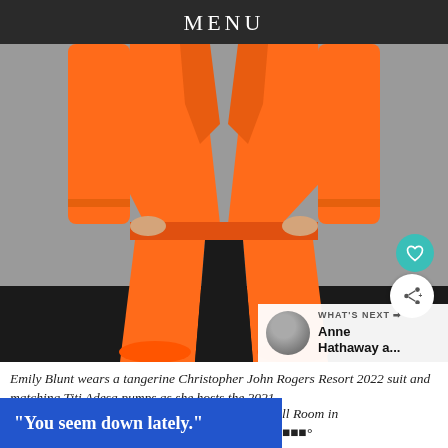MENU
[Figure (photo): Close-up photo from torso down of a person wearing a bright tangerine/orange Christopher John Rogers suit with matching orange Titi Adesa pointed-toe pumps, standing against a gray background with a black floor.]
Emily Blunt wears a tangerine Christopher John Rogers Resort 2022 suit and matching Titi Adesa pumps as she hosts the 2021
"You seem down lately."